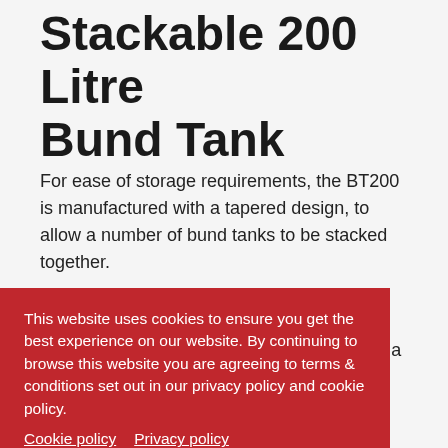Stackable 200 Litre Bund Tank
For ease of storage requirements, the BT200 is manufactured with a tapered design, to allow a number of bund tanks to be stacked together.
The folded over top of the bund tank is designed with fingers in mind, ensuring that a stack of bund tanks can be easily separated without jamming, and being as easy on the fingers as [obscured text continues] ...  remains rigid, even
This website uses cookies to ensure you get the best experience on our website. By continuing to browse this website you are agreeing to terms & conditions set out in our privacy policy and cookie policy.
Cookie policy   Privacy policy
[OK button]
Bund Tank Equipment